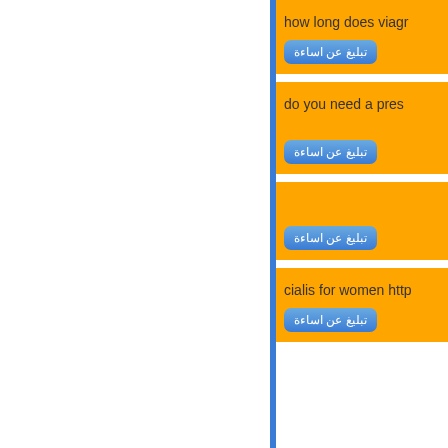[Figure (screenshot): Web page screenshot showing left white panel with blue border and right panel with orange comment/post cards. Each card contains text (partially visible) and a blue Arabic button labeled 'تبليغ عن اساءة' (Report abuse). Card texts visible: 'how long does viagr...', 'do you need a pres...', (third card text not visible), 'cialis for women http...']
how long does viagr
تبليغ عن اساءة
do you need a pres
تبليغ عن اساءة
تبليغ عن اساءة
cialis for women http
تبليغ عن اساءة